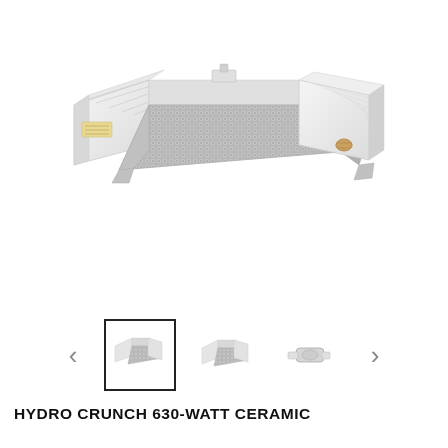[Figure (photo): Product photo of a Hydro Crunch 630-Watt Ceramic grow light fixture with reflective silver hood and white ballast housing, shown at an angle on white background.]
[Figure (photo): Thumbnail carousel showing three small product images of the grow light and its components, with left and right navigation arrows. First thumbnail is selected with a black border.]
HYDRO CRUNCH 630-WATT CERAMIC